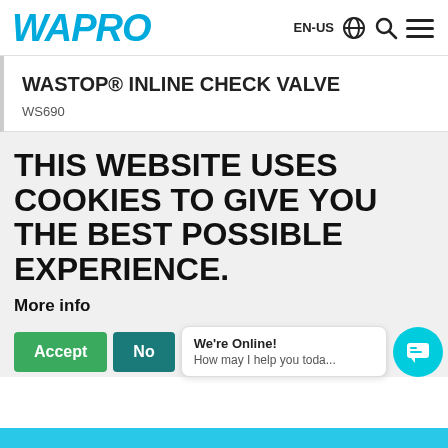[Figure (logo): WAPRO logo in bold italic cyan/blue text]
EN-US
WASTOP® INLINE CHECK VALVE
WS690
THIS WEBSITE USES COOKIES TO GIVE YOU THE BEST POSSIBLE EXPERIENCE.
More info
Accept
No
We're Online! How may I help you toda...